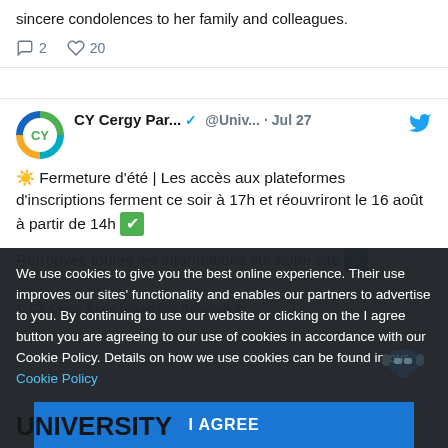sincere condolences to her family and colleagues.
💬 2  🤍 20
CY Cergy Par... ✔ @Univ... · Jul 27
☀️ Fermeture d'été | Les accès aux plateformes d'inscriptions ferment ce soir à 17h et réouvriront le 16 août à partir de 14h ✅

Retrouvez toutes les informations sur notre site 🔷
💬 2  🤍 13
🔁 CY Cergy Paris Université Retweeted
We use cookies to give you the best online experience. Their use improves our sites' functionality and enables our partners to advertise to you. By continuing to use our website or clicking on the I agree button you are agreeing to our use of cookies in accordance with our Cookie Policy. Details on how we use cookies can be found in our Cookie Policy
I AGREE
UNIVERSITY